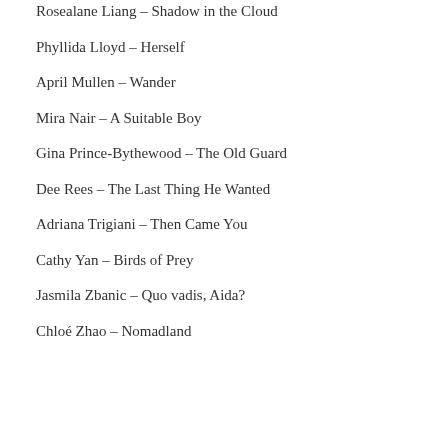Rosealane Liang – Shadow in the Cloud
Phyllida Lloyd – Herself
April Mullen – Wander
Mira Nair – A Suitable Boy
Gina Prince-Bythewood – The Old Guard
Dee Rees – The Last Thing He Wanted
Adriana Trigiani – Then Came You
Cathy Yan – Birds of Prey
Jasmila Zbanic – Quo vadis, Aida?
Chloé Zhao – Nomadland